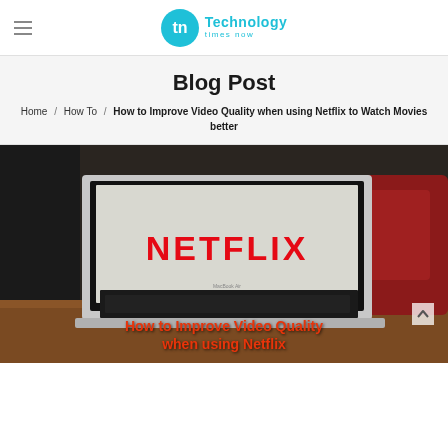Technology times now
Blog Post
Home / How To / How to Improve Video Quality when using Netflix to Watch Movies better
[Figure (photo): A laptop on a wooden desk displaying the Netflix logo on screen, with a blurred background showing dark furniture and a red chair, and a text overlay reading 'How to Improve Video Quality when using Netflix']